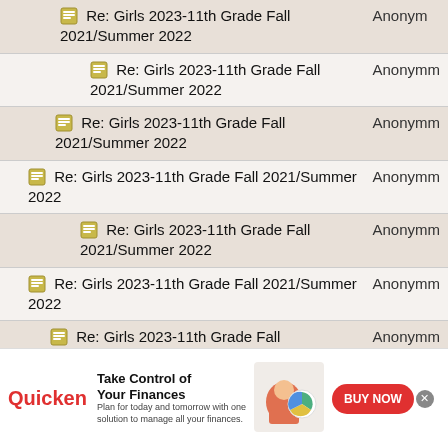| Thread | Author |
| --- | --- |
| Re: Girls 2023-11th Grade Fall 2021/Summer 2022 | Anonym |
| Re: Girls 2023-11th Grade Fall 2021/Summer 2022 | Anonym |
| Re: Girls 2023-11th Grade Fall 2021/Summer 2022 | Anonym |
| Re: Girls 2023-11th Grade Fall 2021/Summer 2022 | Anonym |
| Re: Girls 2023-11th Grade Fall 2021/Summer 2022 | Anonym |
| Re: Girls 2023-11th Grade Fall 2021/Summer 2022 | Anonym |
| Re: Girls 2023-11th Grade Fall 2021/Summer 2022 | Anonym |
| Re: Girls 2023-11th Grade Fall 2021/Summer 2022 | Anonym |
| Re: Girls 2023-11th Grade Fall 2021/Summer 2022 | Anonym |
[Figure (infographic): Quicken advertisement banner: Take Control of Your Finances. Plan for today and tomorrow with one solution to manage all your finances. BUY NOW button.]